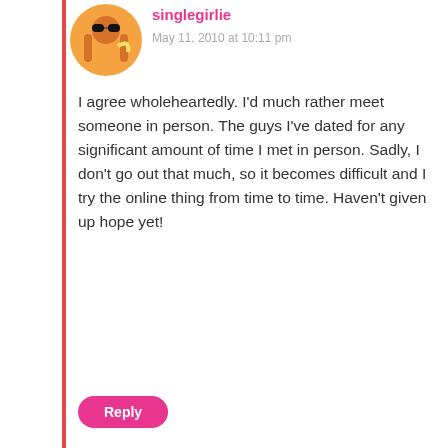singlegirlie
May 11, 2010 at 10:11 pm
I agree wholeheartedly. I'd much rather meet someone in person. The guys I've dated for any significant amount of time I met in person. Sadly, I don't go out that much, so it becomes difficult and I try the online thing from time to time. Haven't given up hope yet!
Reply
salsero69
May 11, 2010 at 11:51 am
The best way I have found to meet someone is to be socializing in some kind of group where you meet the same people often with a slow rotation of new faces. That way there's no pressure, have the time to look for that potential someone.
You already know what I'm talking about so I won't reiterate